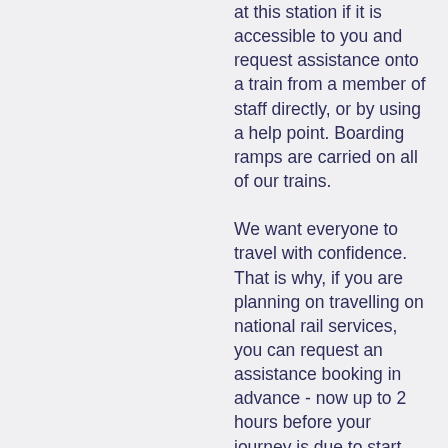at this station if it is accessible to you and request assistance onto a train from a member of staff directly, or by using a help point. Boarding ramps are carried on all of our trains. We want everyone to travel with confidence. That is why, if you are planning on travelling on national rail services, you can request an assistance booking in advance - now up to 2 hours before your journey is due to start, any time of the day. For more information about